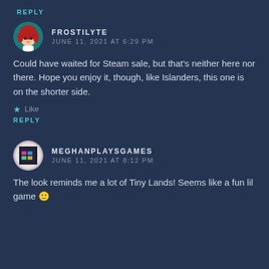REPLY
FROSTILYTE
JUNE 11, 2021 AT 6:29 PM
Could have waited for Steam sale, but that's neither here nor there. Hope you enjoy it, though, like Islanders, this one is on the shorter side.
Like
REPLY
MEGHANPLAYSGAMES
JUNE 11, 2021 AT 8:12 PM
The look reminds me a lot of Tiny Lands! Seems like a fun lil game 🙂